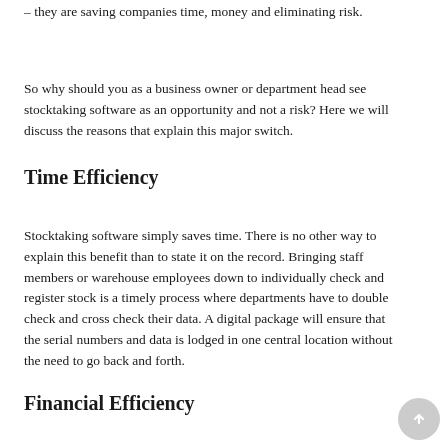– they are saving companies time, money and eliminating risk.
So why should you as a business owner or department head see stocktaking software as an opportunity and not a risk? Here we will discuss the reasons that explain this major switch.
Time Efficiency
Stocktaking software simply saves time. There is no other way to explain this benefit than to state it on the record. Bringing staff members or warehouse employees down to individually check and register stock is a timely process where departments have to double check and cross check their data. A digital package will ensure that the serial numbers and data is lodged in one central location without the need to go back and forth.
Financial Efficiency